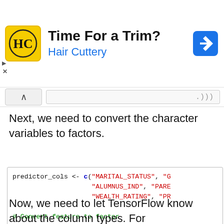[Figure (other): Hair Cuttery advertisement banner with logo, headline 'Time For a Trim?', subheadline 'Hair Cuttery', and a navigation arrow icon.]
.)))
Next, we need to convert the character variables to factors.
predictor_cols <- c("MARITAL_STATUS", "G
                    "ALUMNUS_IND", "PARE
                    "WEALTH_RATING", "PR

# Convert feature to factor
donor_data <- mutate_at(donor_data,
                        .vars = predicto
                        .funs = as.facto
Now, we need to let TensorFlow know about the column types. For